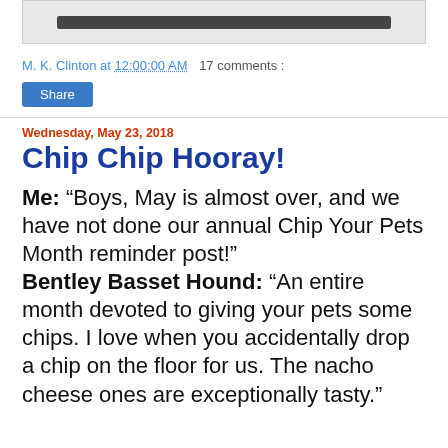[Figure (other): Blurred/redacted image bar at top of page]
M. K. Clinton at 12:00:00 AM   17 comments :
Share
Wednesday, May 23, 2018
Chip Chip Hooray!
Me: “Boys, May is almost over, and we have not done our annual Chip Your Pets Month reminder post!”
Bentley Basset Hound: “An entire month devoted to giving your pets some chips. I love when you accidentally drop a chip on the floor for us. The nacho cheese ones are exceptionally tasty.”